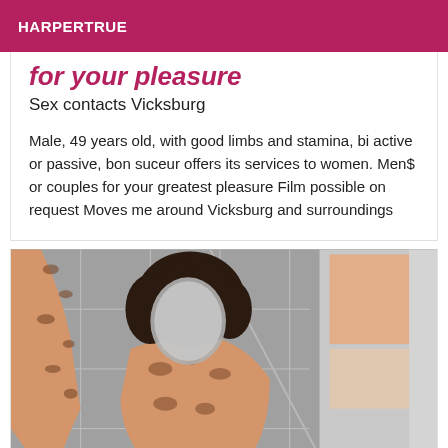HARPERTRUE
for your pleasure
Sex contacts Vicksburg
Male, 49 years old, with good limbs and stamina, bi active or passive, bon suceur offers its services to women. Men$ or couples for your greatest pleasure Film possible on request Moves me around Vicksburg and surroundings
[Figure (photo): A person in a leopard-print outfit with arms raised, face obscured/blurred, standing in a tiled bathroom area with colorful tiles visible on the right.]